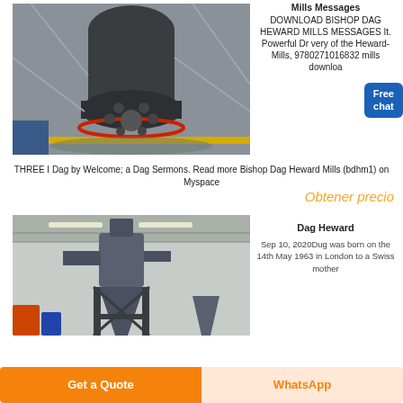[Figure (photo): Industrial grinding mill machine in a warehouse with scaffolding and red accents]
Mills Messages DOWNLOAD BISHOP DAG HEWARD MILLS MESSAGES It. Powerful Dr very of the Heward-Mills, 9780271016832 mills download
[Figure (illustration): Free chat button with person illustration]
THREE I Dag by Welcome; a Dag Sermons. Read more Bishop Dag Heward Mills (bdhm1) on Myspace
Obtener precio
[Figure (photo): Industrial dust collector or cyclone separator machine inside a large factory building]
Dag Heward
Sep 10, 2020Dug was born on the 14th May 1963 in London to a Swiss mother
Get a Quote
WhatsApp